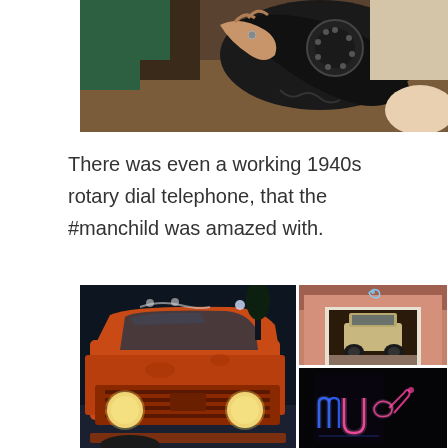[Figure (photo): Close-up photo of a person's hand (wearing a green sweater) holding a black rotary dial telephone on a wooden surface]
There was even a working 1940s rotary dial telephone, that the #manchild was amazed with.
[Figure (photo): Orange vintage Ford truck (late 1950s/early 1960s) photographed at night from a low front angle]
[Figure (photo): Pink/terracotta building with open garage door revealing a vintage Land Rover inside; a blue neon bird sign glows above]
[Figure (photo): Dark background with colorful neon signs including a blue and pink neon sign]